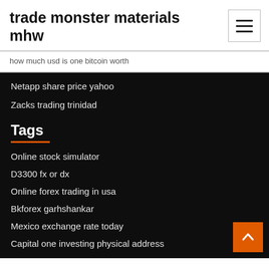trade monster materials mhw
how much usd is one bitcoin worth
Netapp share price yahoo
Zacks trading trinidad
Tags
Online stock simulator
D3300 fx or dx
Online forex trading in usa
Bkforex garhshankar
Mexico exchange rate today
Capital one investing physical address